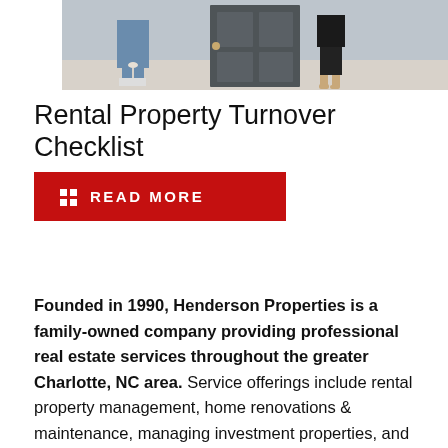[Figure (photo): Two people standing at a door — one in jeans and sneakers on the left, one in a dark skirt and heels on the right, with a grey door in the center background.]
Rental Property Turnover Checklist
READ MORE
Founded in 1990, Henderson Properties is a family-owned company providing professional real estate services throughout the greater Charlotte, NC area. Service offerings include rental property management, home renovations & maintenance, managing investment properties, and